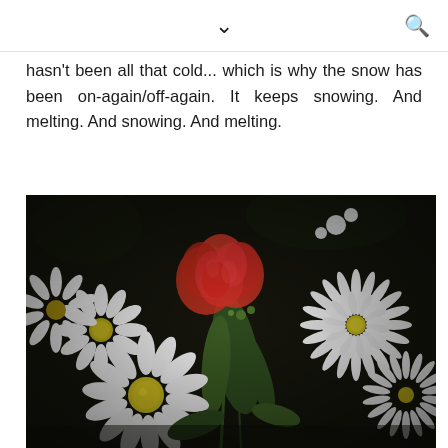▾ 🔍
hasn't been all that cold... which is why the snow has been on-again/off-again. It keeps snowing. And melting. And snowing. And melting.
[Figure (photo): Close-up photograph of a flower bouquet featuring white daisies with yellow centers, a large red/coral carnation in the center, white chrysanthemums, and green foliage against a dark background.]